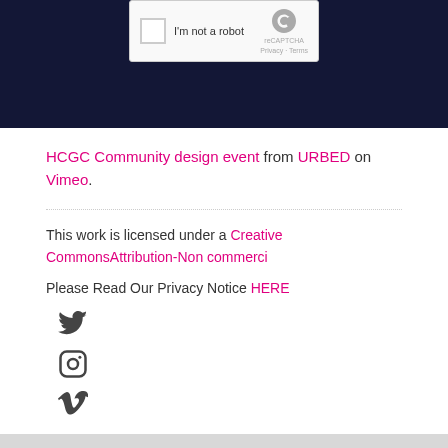[Figure (screenshot): Dark navy banner with reCAPTCHA widget showing checkbox, 'I'm not a robot' text, and reCAPTCHA logo with Privacy/Terms links]
HCGC Community design event from URBED on Vimeo.
This work is licensed under a Creative CommonsAttribution-Non commerci...
Please Read Our Privacy Notice HERE
[Figure (illustration): Twitter bird social icon]
[Figure (illustration): Instagram camera social icon]
[Figure (illustration): Vimeo V social icon]